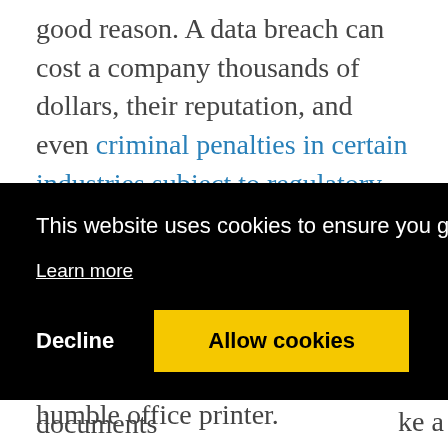good reason. A data breach can cost a company thousands of dollars, their reputation, and even criminal penalties in certain industries subject to regulatory compliance. Despite their efforts to protect their data, many organizations fail to protect one vulnerability found in just about every office in America: the humble office printer.
[Figure (screenshot): Cookie consent banner with black background, showing message 'This website uses cookies to ensure you get the best experience on our website.' with 'Learn more' link, and two buttons: 'Decline' (white text) and 'Allow cookies' (yellow button with black text).]
store the information from all the documents